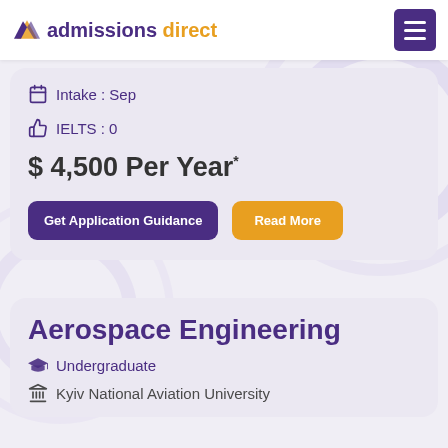admissions direct
Intake : Sep
IELTS : 0
$ 4,500 Per Year*
Get Application Guidance
Read More
Aerospace Engineering
Undergraduate
Kyiv National Aviation University